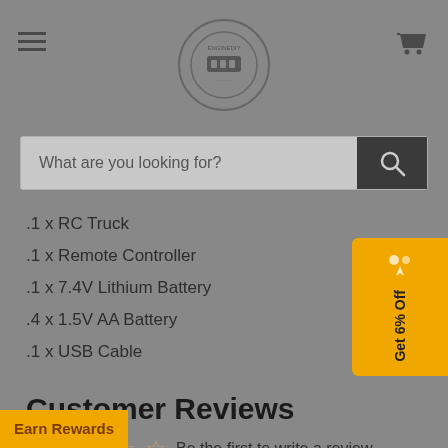EngineDIY store header with hamburger menu, logo, and cart icon
What are you looking for?
.1 x RC Truck
.1 x Remote Controller
.1 x 7.4V Lithium Battery
.4 x 1.5V AA Battery
.1 x USB Cable
Customer Reviews
Be the first to write a review
Write a review